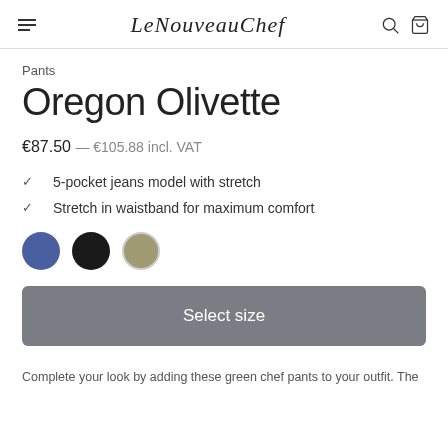Le Nouveau Chef
Pants
Oregon Olivette
€87.50 — €105.88 incl. VAT
5-pocket jeans model with stretch
Stretch in waistband for maximum comfort
[Figure (other): Three color swatches: blue, black, and olive/green]
Select size
Complete your look by adding these green chef pants to your outfit. The